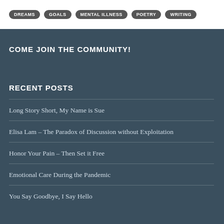DREAMS  GOALS  MENTAL ILLNESS  POETRY  WRITING
COME JOIN THE COMMUNITY!
RECENT POSTS
Long Story Short, My Name is Sue
Elisa Lam – The Paradox of Discussion without Exploitation
Honor Your Pain – Then Set it Free
Emotional Care During the Pandemic
You Say Goodbye, I Say Hello